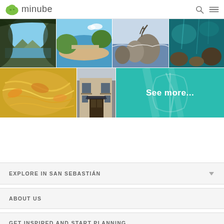minube
[Figure (photo): Photo grid of San Sebastián including coastal views, rock formations, underwater scene, food close-up, street scene, and a teal 'See more...' tile]
See more...
EXPLORE IN SAN SEBASTIÁN
ABOUT US
GET INSPIRED AND START PLANNING